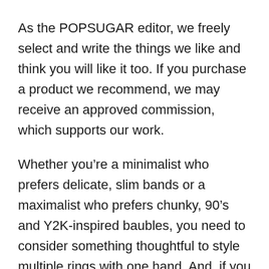As the POPSUGAR editor, we freely select and write the things we like and think you will like it too. If you purchase a product we recommend, we may receive an approved commission, which supports our work.
Whether you’re a minimalist who prefers delicate, slim bands or a maximalist who prefers chunky, 90’s and Y2K-inspired baubles, you need to consider something thoughtful to style multiple rings with one hand. And, if you play an engagement ring, you also need to think about